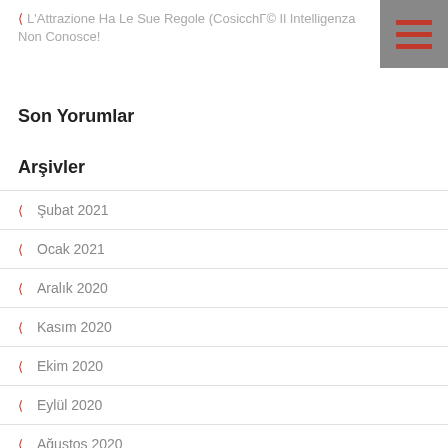L'Attrazione Ha Le Sue Regole (CosicchÃ© Il Intelligenza Non Conosce!
Son Yorumlar
Arşivler
Şubat 2021
Ocak 2021
Aralık 2020
Kasım 2020
Ekim 2020
Eylül 2020
Ağustos 2020